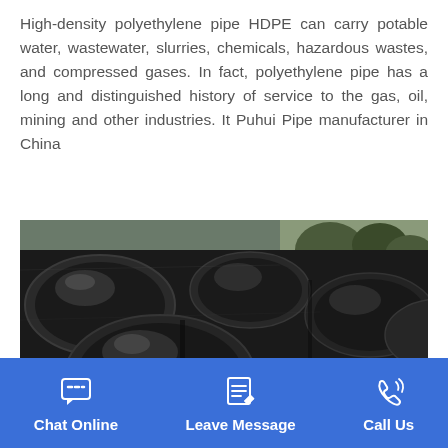High-density polyethylene pipe HDPE can carry potable water, wastewater, slurries, chemicals, hazardous wastes, and compressed gases. In fact, polyethylene pipe has a long and distinguished history of service to the gas, oil, mining and other industries. It Puhui Pipe manufacturer in China
[Figure (photo): Photograph of multiple large black HDPE pipes stacked together, viewed from the end, showing their circular cross-sections, with a blurred outdoor background.]
Chat Online   Leave Message   Call Us